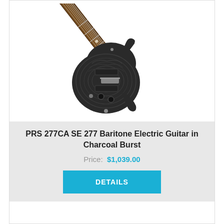[Figure (photo): PRS SE 277 Baritone electric guitar in Charcoal Burst finish, shown at an angle with flamed maple top, dark body, rosewood fretboard, two humbuckers, and chrome hardware.]
PRS 277CA SE 277 Baritone Electric Guitar in Charcoal Burst
Price:  $1,039.00
DETAILS